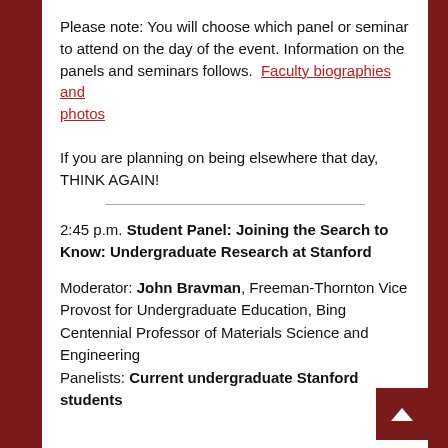Please note: You will choose which panel or seminar to attend on the day of the event. Information on the panels and seminars follows.  Faculty biographies and photos
If you are planning on being elsewhere that day, THINK AGAIN!
2:45 p.m. Student Panel: Joining the Search to Know: Undergraduate Research at Stanford
Moderator: John Bravman, Freeman-Thornton Vice Provost for Undergraduate Education, Bing Centennial Professor of Materials Science and Engineering
Panelists: Current undergraduate Stanford students